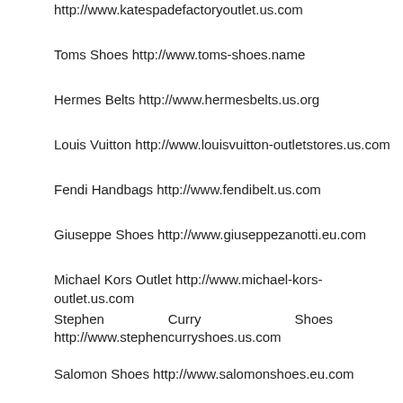http://www.katespadefactoryoutlet.us.com
Toms Shoes http://www.toms-shoes.name
Hermes Belts http://www.hermesbelts.us.org
Louis Vuitton http://www.louisvuitton-outletstores.us.com
Fendi Handbags http://www.fendibelt.us.com
Giuseppe Shoes http://www.giuseppezanotti.eu.com
Michael Kors Outlet http://www.michael-kors-outlet.us.com
Stephen Curry Shoes http://www.stephencurryshoes.us.com
Salomon Shoes http://www.salomonshoes.eu.com
North Face Outlet http://www.northfacesoutlet.in.net
Coach Outlet http://www.outletcoach.in.net